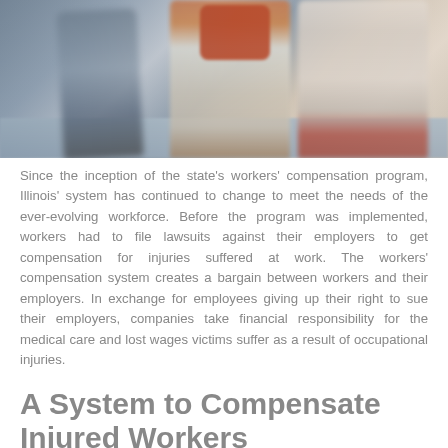[Figure (photo): Blurred motion photo of people walking/running, one carrying an orange/red bag, shot from ground level showing legs and lower bodies in motion against a grey pavement background.]
Since the inception of the state's workers' compensation program, Illinois' system has continued to change to meet the needs of the ever-evolving workforce. Before the program was implemented, workers had to file lawsuits against their employers to get compensation for injuries suffered at work. The workers' compensation system creates a bargain between workers and their employers. In exchange for employees giving up their right to sue their employers, companies take financial responsibility for the medical care and lost wages victims suffer as a result of occupational injuries.
A System to Compensate Injured Workers